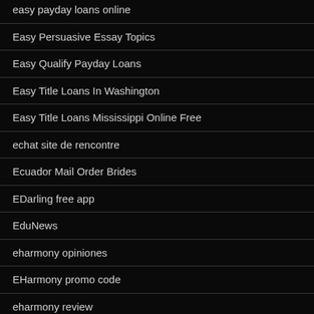easy payday loans online
Easy Persuasive Essay Topics
Easy Qualify Payday Loans
Easy Title Loans In Washington
Easy Title Loans Mississippi Online Free
echat site de rencontre
Ecuador Mail Order Brides
EDarling free app
EduNews
eharmony opiniones
EHarmony promo code
eharmony review
elite singles probemonat